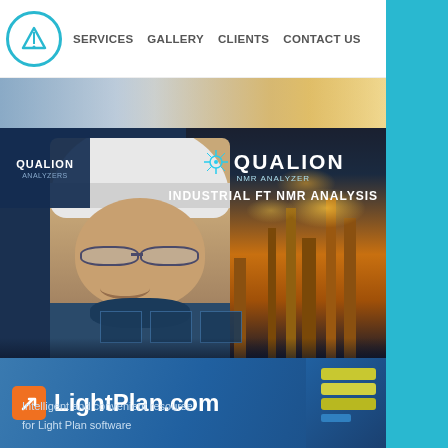ARE  SERVICES  GALLERY  CLIENTS  CONTACT US
[Figure (screenshot): Hero image showing a man in a white hard hat and glasses smiling, overlaid with QUALION NMR ANALYZER branding and text INDUSTRIAL FT NMR ANALYSIS, with industrial refinery towers glowing in the background. A blue panel on the left shows QUALION ANALYZERS text. Small UI screenshot thumbnails visible at the bottom.]
[Figure (screenshot): Bottom banner with gradient blue background showing LightPlan.com logo with orange arrow icon and text: Intelligent and convenient resourse for Light Plan software. A product photo of LED lighting hardware appears on the right.]
Intelligent and convenient resourse
for Light Plan software